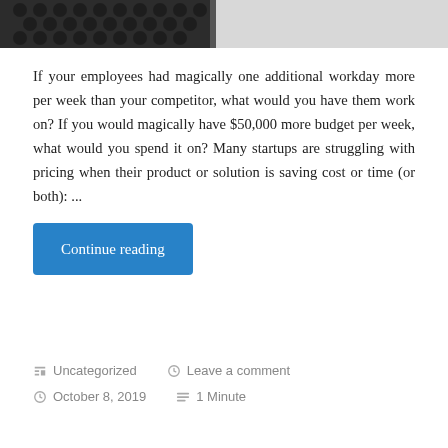[Figure (photo): Partial view of a dark mechanical or electronic component, cropped at the top of the page]
If your employees had magically one additional workday more per week than your competitor, what would you have them work on? If you would magically have $50,000 more budget per week, what would you spend it on? Many startups are struggling with pricing when their product or solution is saving cost or time (or both): ...
Continue reading
Uncategorized   Leave a comment
October 8, 2019   1 Minute